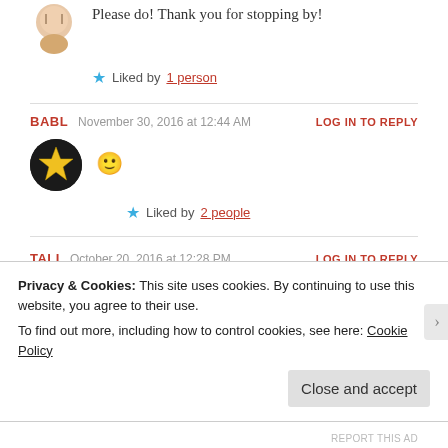Please do! Thank you for stopping by!
★ Liked by 1 person
BABL  November 30, 2016 at 12:44 AM  LOG IN TO REPLY
[Figure (illustration): Dark circular avatar with gold star icon]
🙂
★ Liked by 2 people
TALI  October 20, 2016 at 12:28 PM  LOG IN TO REPLY
Privacy & Cookies: This site uses cookies. By continuing to use this website, you agree to their use. To find out more, including how to control cookies, see here: Cookie Policy
Close and accept